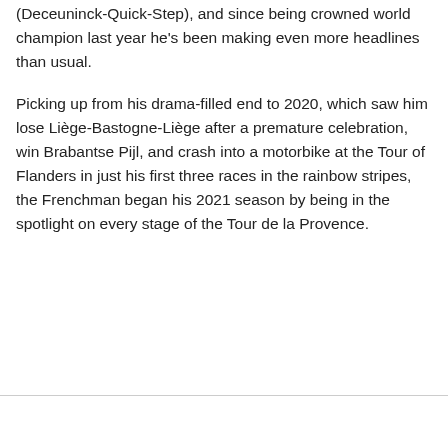(Deceuninck-Quick-Step), and since being crowned world champion last year he's been making even more headlines than usual.
Picking up from his drama-filled end to 2020, which saw him lose Liège-Bastogne-Liège after a premature celebration, win Brabantse Pijl, and crash into a motorbike at the Tour of Flanders in just his first three races in the rainbow stripes, the Frenchman began his 2021 season by being in the spotlight on every stage of the Tour de la Provence.